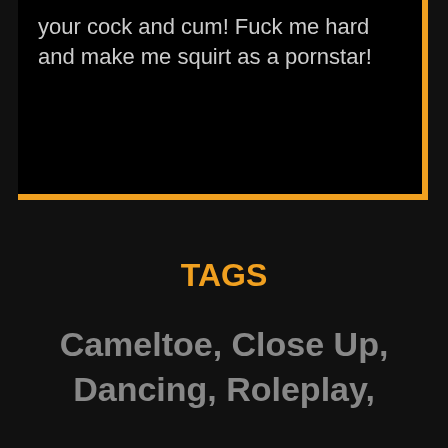your cock and cum! Fuck me hard and make me squirt as a pornstar!
TAGS
Cameltoe, Close Up, Dancing, Roleplay,